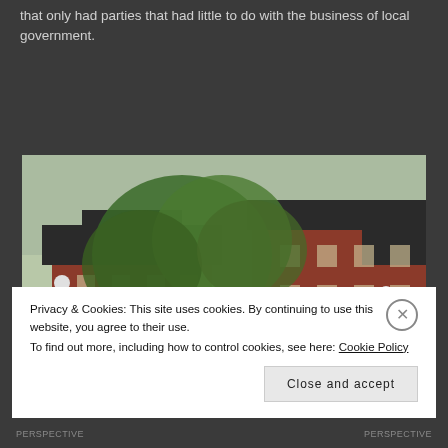... that only had parties that had little to do with the business of local government.
[Figure (photo): Photograph of a red-brick multi-storey building, likely a government or NHS building, with trees in the foreground and lamp posts. A blue NHS sign is visible at lower right.]
Privacy & Cookies: This site uses cookies. By continuing to use this website, you agree to their use.
To find out more, including how to control cookies, see here: Cookie Policy
PERSPECTIVE